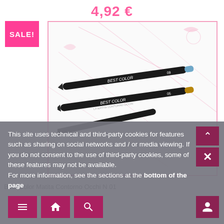4,92 €
[Figure (photo): Two Best Color eyeliner pencils (numbers 09 and 05) on a white background with pink floral decorative lines, inside a pink-bordered frame. A pink SALE! badge is shown to the left.]
Best Color Matita Contorno Occhi N 01
This site uses technical and third-party cookies for features such as sharing on social networks and / or media viewing. If you do not consent to the use of third-party cookies, some of these features may not be available. For more information, see the sections at the bottom of the page